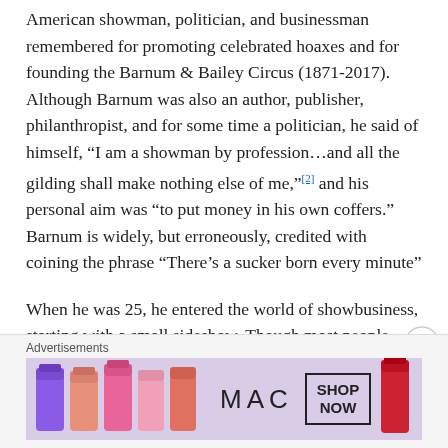American showman, politician, and businessman remembered for promoting celebrated hoaxes and for founding the Barnum & Bailey Circus (1871-2017). Although Barnum was also an author, publisher, philanthropist, and for some time a politician, he said of himself, "I am a showman by profession…and all the gilding shall make nothing else of me,"[2] and his personal aim was "to put money in his own coffers." Barnum is widely, but erroneously, credited with coining the phrase "There's a sucker born every minute"
When he was 25, he entered the world of showbusiness, starting with a small sideshow. Though most people associate him with the famous Barnum and Bailey circus,
Advertisements
[Figure (photo): MAC Cosmetics advertisement banner showing colorful lipsticks on the left, MAC logo in the center, a SHOP NOW button, and a red lipstick on the right]